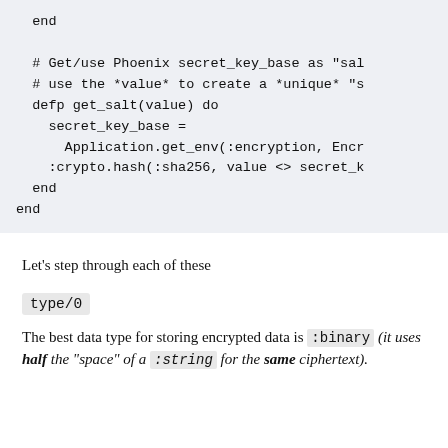end

  # Get/use Phoenix secret_key_base as "sal
  # use the *value* to create a *unique* "s
  defp get_salt(value) do
    secret_key_base =
      Application.get_env(:encryption, Encr
    :crypto.hash(:sha256, value <> secret_k
  end
end
Let's step through each of these
type/0
The best data type for storing encrypted data is :binary (it uses half the "space" of a :string for the same ciphertext).